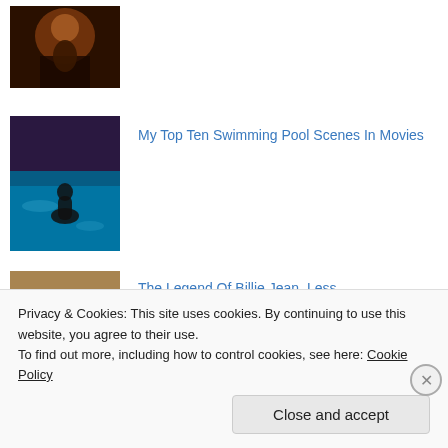[Figure (photo): Dark stage scene thumbnail image]
[Figure (photo): Swimming pool scene with silhouetted figure]
My Top Ten Swimming Pool Scenes In Movies
[Figure (photo): Two people in 80s style clothing, movie still]
The Legend Of Billie Jean, Less Than Zero & Private School Movie Reviews
[Figure (photo): Spring Breakers movie thumbnail with bright colors]
Spring Breakers (2012) Review
Privacy & Cookies: This site uses cookies. By continuing to use this website, you agree to their use.
To find out more, including how to control cookies, see here: Cookie Policy
Close and accept